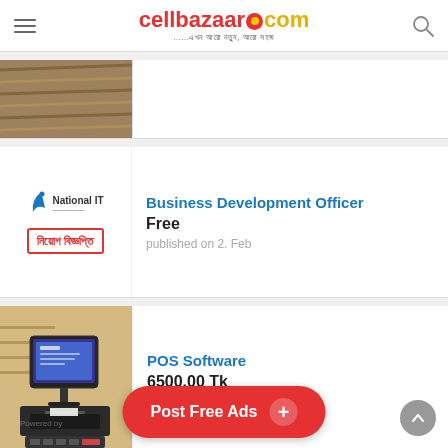cellbazaar.com
[Figure (photo): Partial product thumbnail at top — cropped image showing bamboo or straw-like material]
[Figure (logo): National IT logo with Bengali text 'নিয়োগ বিজ্ঞপ্তি' in a red-bordered box]
Business Development Officer
Free
published on 2. Feb
[Figure (photo): POS terminal/cash register system on a counter in a store]
POS Software
6500.00 Tk
published on 1. Jan
[Figure (photo): Partial thumbnail - dark material, bottom of page]
Audio Mixing-Mastering
5000.00 Tk
Post Free Ads +